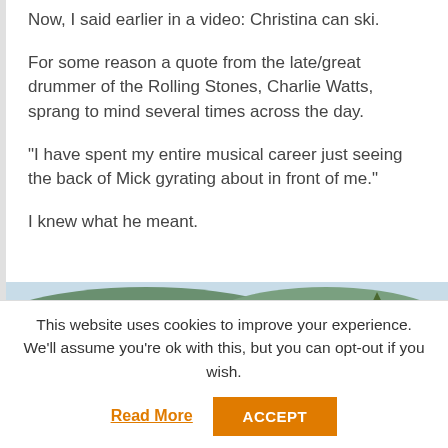Now, I said earlier in a video: Christina can ski.
For some reason a quote from the late/great drummer of the Rolling Stones, Charlie Watts, sprang to mind several times across the day.
“I have spent my entire musical career just seeing the back of Mick gyrating about in front of me.”
I knew what he meant.
[Figure (photo): Ski slope with red safety netting on the sides, surrounded by snow, evergreen forest, and mountains in the background.]
This website uses cookies to improve your experience. We’ll assume you’re ok with this, but you can opt-out if you wish.
Read More | ACCEPT